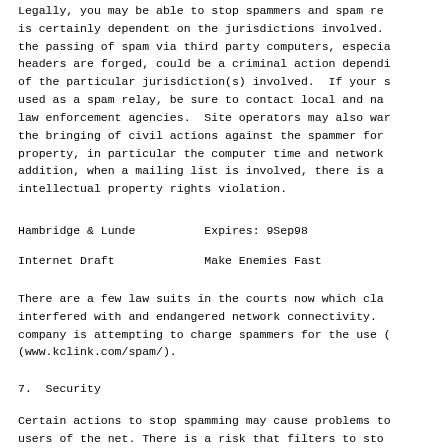Legally, you may be able to stop spammers and spam re is certainly dependent on the jurisdictions involved. the passing of spam via third party computers, especia headers are forged, could be a criminal action dependi of the particular jurisdiction(s) involved. If your s used as a spam relay, be sure to contact local and na law enforcement agencies. Site operators may also war the bringing of civil actions against the spammer for property, in particular the computer time and network addition, when a mailing list is involved, there is a intellectual property rights violation.
Hambridge & Lunde          Expires: 9Sep98
Internet Draft             Make Enemies Fast
There are a few law suits in the courts now which cla interfered with and endangered network connectivity. company is attempting to charge spammers for the use ( (www.kclink.com/spam/).
7.  Security
Certain actions to stop spamming may cause problems to users of the net. There is a risk that filters to sto